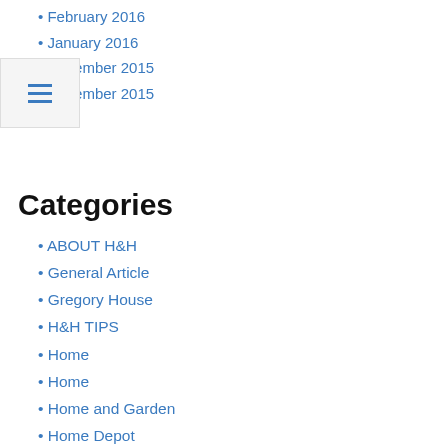February 2016
January 2016
December 2015
November 2015
Categories
ABOUT H&H
General Article
Gregory House
H&H TIPS
Home
Home
Home and Garden
Home Depot
Home Listings
Home Sales
House